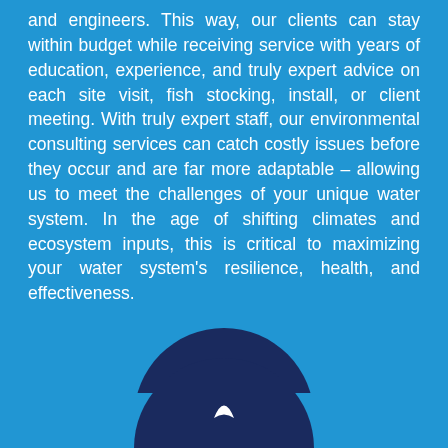and engineers. This way, our clients can stay within budget while receiving service with years of education, experience, and truly expert advice on each site visit, fish stocking, install, or client meeting. With truly expert staff, our environmental consulting services can catch costly issues before they occur and are far more adaptable – allowing us to meet the challenges of your unique water system. In the age of shifting climates and ecosystem inputs, this is critical to maximizing your water system's resilience, health, and effectiveness.
[Figure (logo): Dark navy blue circular arch/dome shape with a white leaf or fish tail element at the bottom center, resembling a company logo]